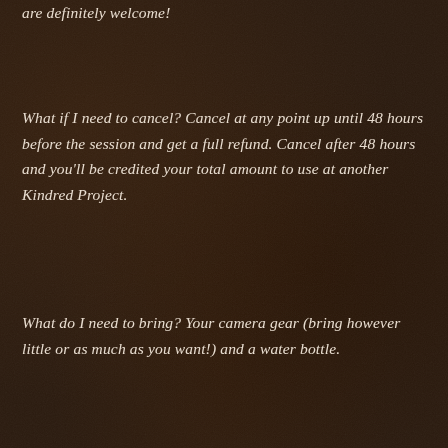are definitely welcome!
What if I need to cancel? Cancel at any point up until 48 hours before the session and get a full refund. Cancel after 48 hours and you'll be credited your total amount to use at another Kindred Project.
What do I need to bring? Your camera gear (bring however little or as much as you want!) and a water bottle.